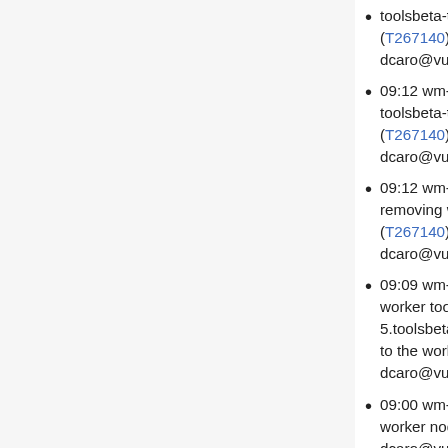toolsbeta-test-k8s-worker-2. (T267140) - cookbook ran by dcaro@vulcanus
09:12 wm-bot: Draining node toolsbeta-test-k8s-worker-2... (T267140) - cookbook ran by dcaro@vulcanus
09:12 wm-bot: Depooling and removing worker , will pick the oldest. (T267140) - cookbook ran by dcaro@vulcanus
09:09 wm-bot: Added a new k8s worker toolsbeta-test-k8s-worker-5.toolsbeta.eqiad1.wikimedia.cloud to the worker pool - cookbook ran by dcaro@vulcanus
09:00 wm-bot: Adding a new k8s worker node - cookbook ran by dcaro@vulcanus
08:59 wm-bot: Depooled and